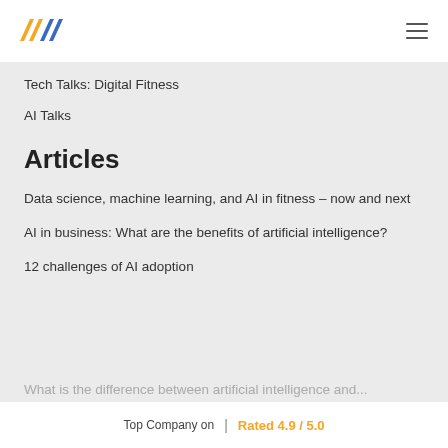[Figure (logo): Orange and blue stylized 'NNJ' or similar letter logo mark]
Tech Talks: Digital Fitness
AI Talks
Articles
Data science, machine learning, and AI in fitness – now and next
AI in business: What are the benefits of artificial intelligence?
12 challenges of AI adoption
Top Company on  |  Rated 4.9 / 5.0